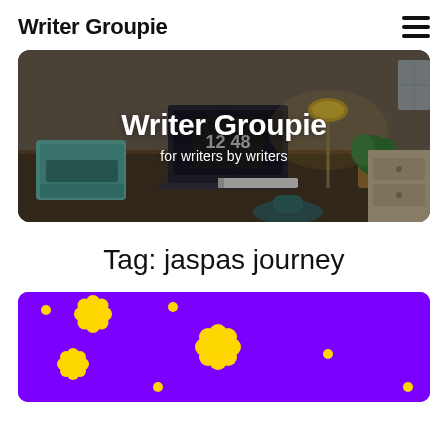Writer Groupie
[Figure (photo): Hero banner image showing a writing desk with a vintage typewriter, laptop displaying 12:48, a lamp, and plants, with overlay text 'Writer Groupie' and 'for writers by writers']
Tag: jaspas journey
[Figure (illustration): Purple background with yellow daisy flower illustrations scattered across it]